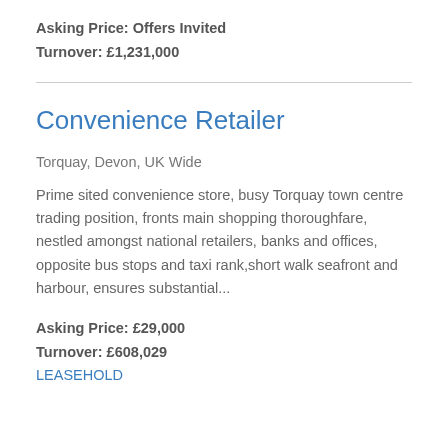Asking Price: Offers Invited
Turnover: £1,231,000
Convenience Retailer
Torquay, Devon, UK Wide
Prime sited convenience store, busy Torquay town centre trading position, fronts main shopping thoroughfare, nestled amongst national retailers, banks and offices, opposite bus stops and taxi rank,short walk seafront and harbour, ensures substantial...
Asking Price: £29,000
Turnover: £608,029
LEASEHOLD